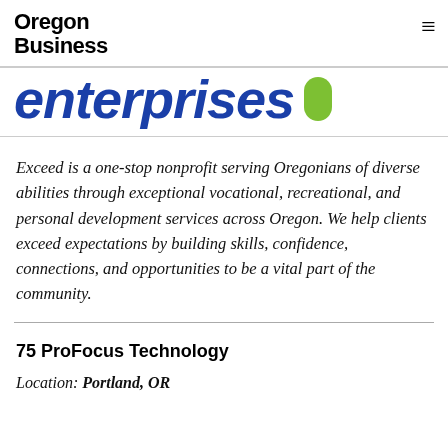Oregon Business
[Figure (logo): Exceed Enterprises logo with italic blue 'enterprises' text and green pill/oval shape]
Exceed is a one-stop nonprofit serving Oregonians of diverse abilities through exceptional vocational, recreational, and personal development services across Oregon. We help clients exceed expectations by building skills, confidence, connections, and opportunities to be a vital part of the community.
75 ProFocus Technology
Location: Portland, OR